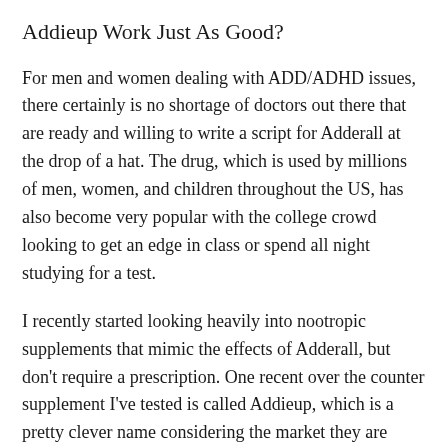Addieup Work Just As Good?
For men and women dealing with ADD/ADHD issues, there certainly is no shortage of doctors out there that are ready and willing to write a script for Adderall at the drop of a hat. The drug, which is used by millions of men, women, and children throughout the US, has also become very popular with the college crowd looking to get an edge in class or spend all night studying for a test.
I recently started looking heavily into nootropic supplements that mimic the effects of Adderall, but don’t require a prescription. One recent over the counter supplement I’ve tested is called Addieup, which is a pretty clever name considering the market they are